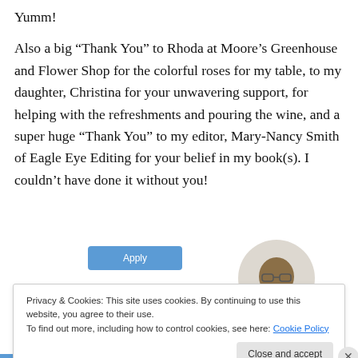Yumm!
Also a big “Thank You” to Rhoda at Moore’s Greenhouse and Flower Shop for the colorful roses for my table, to my daughter, Christina for your unwavering support, for helping with the refreshments and pouring the wine, and a super huge “Thank You” to my editor, Mary-Nancy Smith of Eagle Eye Editing for your belief in my book(s). I couldn’t have done it without you!
[Figure (photo): A blue 'Apply' button on the left, and a circular photo of a man thinking with his hand on his chin on the right]
Privacy & Cookies: This site uses cookies. By continuing to use this website, you agree to their use.
To find out more, including how to control cookies, see here: Cookie Policy
Close and accept
Advertisements